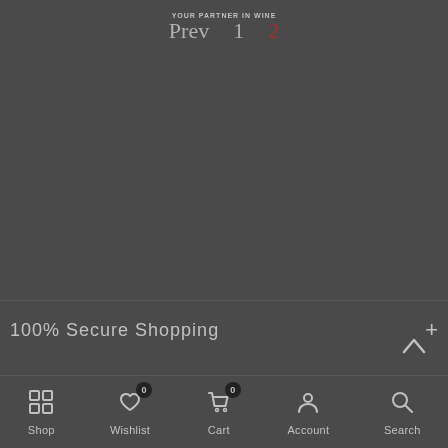YOUR PARTNER IN WINE
Prev  1  2
100% Secure Shopping
Customer Services
Shop  Wishlist 0  Cart 0  Account  Search